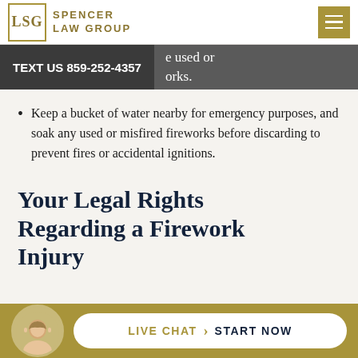Spencer Law Group
TEXT US 859-252-4357 | e used or orks.
Keep a bucket of water nearby for emergency purposes, and soak any used or misfired fireworks before discarding to prevent fires or accidental ignitions.
Your Legal Rights Regarding a Firework Injury
LIVE CHAT › START NOW